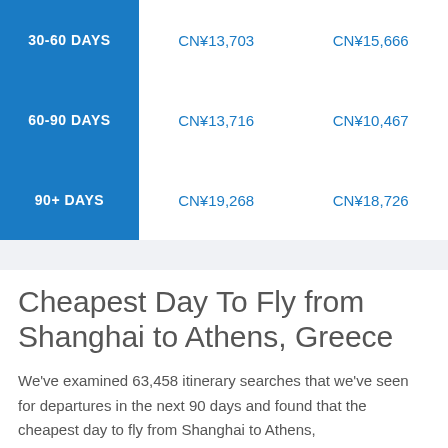|  | Shanghai to Athens | Athens to Shanghai |
| --- | --- | --- |
| 30-60 DAYS | CN¥13,703 | CN¥15,666 |
| 60-90 DAYS | CN¥13,716 | CN¥10,467 |
| 90+ DAYS | CN¥19,268 | CN¥18,726 |
Cheapest Day To Fly from Shanghai to Athens, Greece
We've examined 63,458 itinerary searches that we've seen for departures in the next 90 days and found that the cheapest day to fly from Shanghai to Athens,